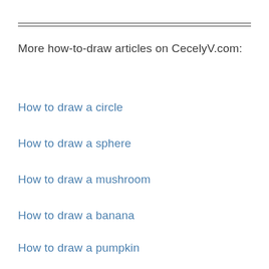More how-to-draw articles on CecelyV.com:
How to draw a circle
How to draw a sphere
How to draw a mushroom
How to draw a banana
How to draw a pumpkin